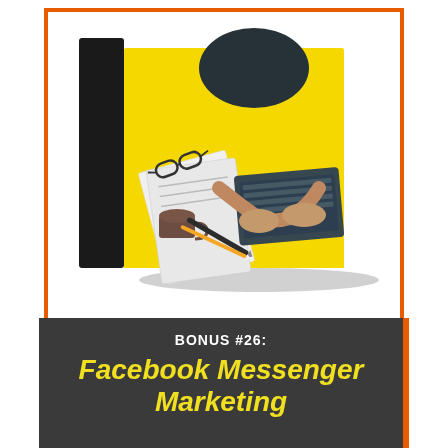[Figure (illustration): A book cover illustration showing a top-down view of a person working at a yellow desk with a laptop, papers, glasses, coffee cup and pens. The book has a dark spine on the left and yellow front. The whole card is bordered by an orange rectangle frame.]
BONUS #26:
Facebook Messenger Marketing